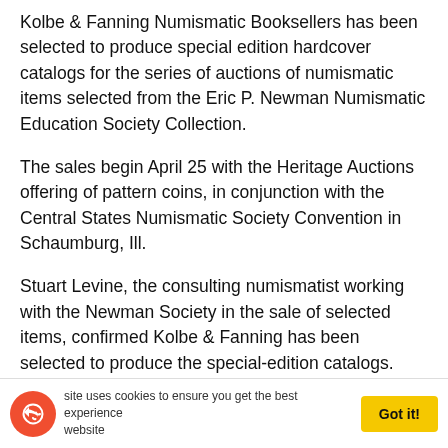Kolbe & Fanning Numismatic Booksellers has been selected to produce special edition hardcover catalogs for the series of auctions of numismatic items selected from the Eric P. Newman Numismatic Education Society Collection.
The sales begin April 25 with the Heritage Auctions offering of pattern coins, in conjunction with the Central States Numismatic Society Convention in Schaumburg, Ill.
Stuart Levine, the consulting numismatist working with the Newman Society in the sale of selected items, confirmed Kolbe & Fanning has been selected to produce the special-edition catalogs. Levine said if special-edition catalogs are produced for what is expected to be a number of separate auctions, Kolbe & Fanning will produce the special-edition catalogs for those sales as well.
This site uses cookies to ensure you get the best experience on our website